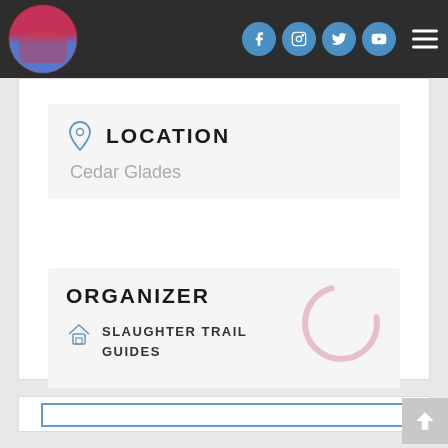Navigation header with logo, social icons (Facebook, Instagram, Twitter, YouTube), and hamburger menu
LOCATION
Cedar Glades
ORGANIZER
SLAUGHTER TRAIL GUIDES
[Figure (other): Loading spinner / circular progress indicator, semi-transparent pink/rose color]